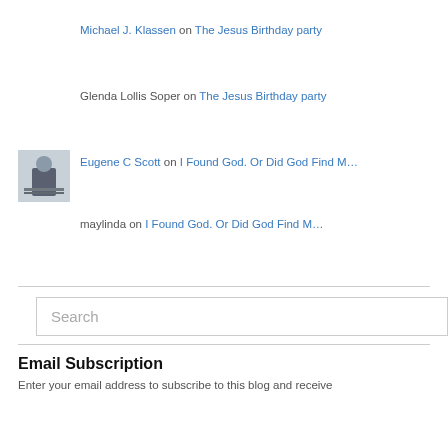Michael J. Klassen on The Jesus Birthday party
Glenda Lollis Soper on The Jesus Birthday party
Eugene C Scott on I Found God. Or Did God Find M…
maylinda on I Found God. Or Did God Find M…
Search
Email Subscription
Enter your email address to subscribe to this blog and receive